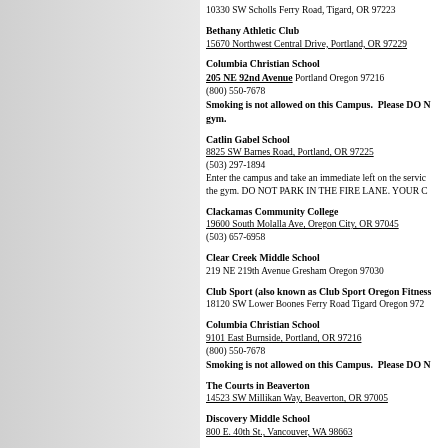10330 SW Scholls Ferry Road, Tigard, OR 97223
Bethany Athletic Club
15670 Northwest Central Drive, Portland, OR 97229
Columbia Christian School
205 NE 92nd Avenue Portland Oregon 97216
(800) 550-7678
Smoking is not allowed on this Campus. Please DO N... gym.
Catlin Gabel School
8825 SW Barnes Road, Portland, OR 97225
(503) 297-1894
Enter the campus and take an immediate left on the servic... the gym. DO NOT PARK IN THE FIRE LANE. YOUR C...
Clackamas Community College
19600 South Molalla Ave, Oregon City, OR 97045
(503) 657-6958
Clear Creek Middle School
219 NE 219th Avenue Gresham Oregon 97030
Club Sport (also known as Club Sport Oregon Fitness
18120 SW Lower Boones Ferry Road Tigard Oregon 972...
Columbia Christian School
9101 East Burnside, Portland, OR 97216
(800) 550-7678
Smoking is not allowed on this Campus. Please DO N...
The Courts in Beaverton
14523 SW Millikan Way, Beaverton, OR 97005
Discovery Middle School
800 E. 40th St., Vancouver, WA 98663
Eastmoreland Courts
3015 Southeast Berkeley Place Portland, OR 97202